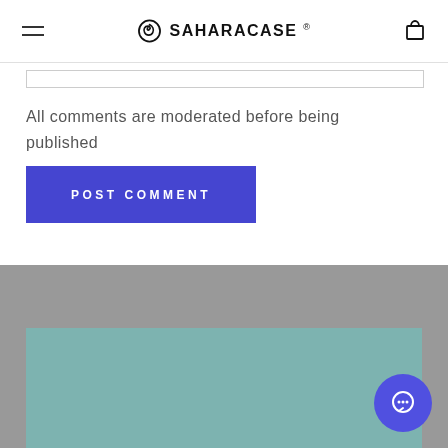SaharaCase
All comments are moderated before being published
[Figure (screenshot): Blue POST COMMENT button]
[Figure (screenshot): Gray footer section with teal content area and blue chat bubble icon in bottom right corner]